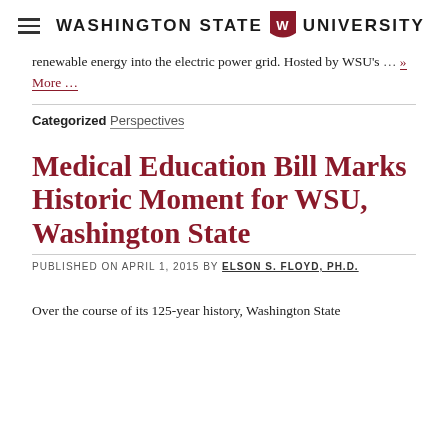Washington State University
renewable energy into the electric power grid. Hosted by WSU's … » More …
Categorized Perspectives
Medical Education Bill Marks Historic Moment for WSU, Washington State
PUBLISHED ON APRIL 1, 2015 BY ELSON S. FLOYD, PH.D.
Over the course of its 125-year history, Washington State University has…